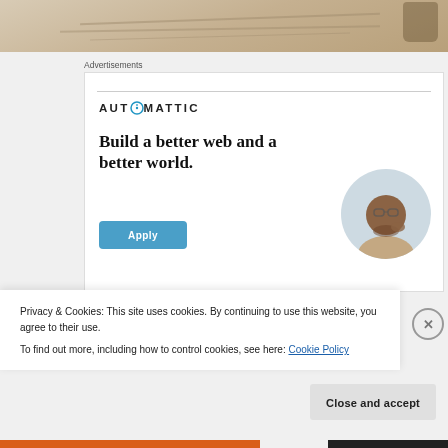[Figure (photo): Top portion of a photo showing sandy/wooden surface with tire tracks or lines]
Advertisements
[Figure (illustration): Automattic advertisement: logo with compass icon, headline 'Build a better web and a better world.', blue Apply button, circular photo of a man with glasses thinking]
Privacy & Cookies: This site uses cookies. By continuing to use this website, you agree to their use.
To find out more, including how to control cookies, see here: Cookie Policy
Close and accept